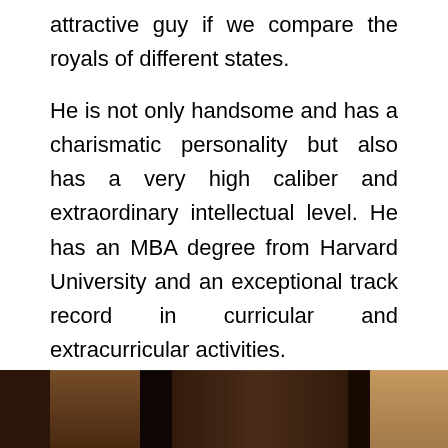attractive guy if we compare the royals of different states.
He is not only handsome and has a charismatic personality but also has a very high caliber and extraordinary intellectual level. He has an MBA degree from Harvard University and an exceptional track record in curricular and extracurricular activities.
He is an Arab Prince who can fluently speak English and French besides Arabic. He has also led the Qatar Equestrian sports team formally.
[Figure (photo): A dark, partially visible photograph showing people in an indoor setting, cropped at the bottom of the page.]